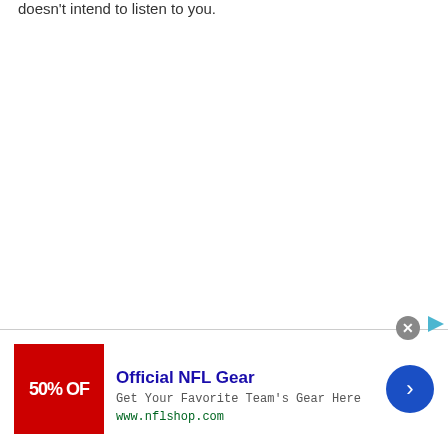doesn't intend to listen to you.
[Figure (other): Advertisement banner for NFL Shop: red image with '50% OFF' text, title 'Official NFL Gear', subtitle 'Get Your Favorite Team's Gear Here', url 'www.nflshop.com', with a blue arrow button and close button]